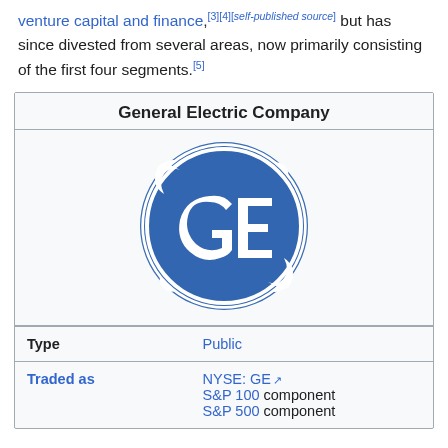venture capital and finance,[3][4][self-published source] but has since divested from several areas, now primarily consisting of the first four segments.[5]
General Electric Company
[Figure (logo): General Electric (GE) circular blue logo with white stylized GE monogram]
|  |  |
| --- | --- |
| Type | Public |
| Traded as | NYSE: GE
S&P 100 component
S&P 500 component |